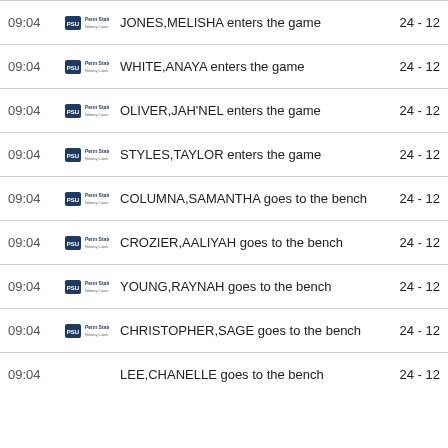09:04  JONES,MELISHA enters the game  24 - 12
09:04  WHITE,ANAYA enters the game  24 - 12
09:04  OLIVER,JAH'NEL enters the game  24 - 12
09:04  STYLES,TAYLOR enters the game  24 - 12
09:04  COLUMNA,SAMANTHA goes to the bench  24 - 12
09:04  CROZIER,AALIYAH goes to the bench  24 - 12
09:04  YOUNG,RAYNAH goes to the bench  24 - 12
09:04  CHRISTOPHER,SAGE goes to the bench  24 - 12
09:04  LEE,CHANELLE goes to the bench  24 - 12